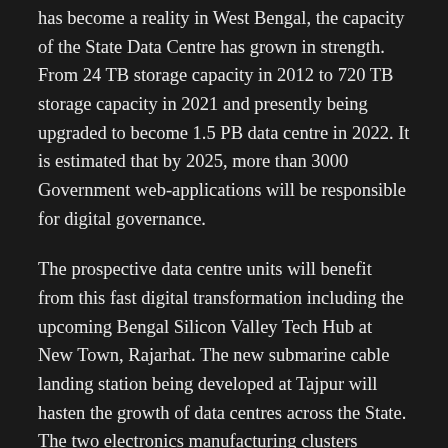has become a reality in West Bengal, the capacity of the State Data Centre has grown in strength. From 24 TB storage capacity in 2012 to 720 TB storage capacity in 2021 and presently being upgraded to become 1.5 PB data centre in 2022. It is estimated that by 2025, more than 3000 Government web-applications will be responsible for digital governance.
The prospective data centre units will benefit from this fast digital transformation including the upcoming Bengal Silicon Valley Tech Hub at New Town, Rajarhat. The new submarine cable landing station being developed at Tajpur will hasten the growth of data centres across the State. The two electronics manufacturing clusters (EMC) at Kalyani and Falta will create ancillary units for the new data centres.
To prove fidelity and irrefutability of any digital data while enabling alignment of the the users of the...